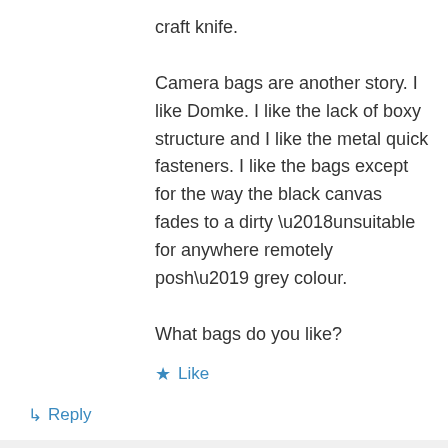craft knife.
Camera bags are another story. I like Domke. I like the lack of boxy structure and I like the metal quick fasteners. I like the bags except for the way the black canvas fades to a dirty ‘unsuitable for anywhere remotely posh’ grey colour.
What bags do you like?
★ Like
↳ Reply
dg28 on December 18, 2014 at 2:05 pm
SD cards aren’t really the best thing for me most of the time so I still have the agony of finding CF card readers. As far as bags go,